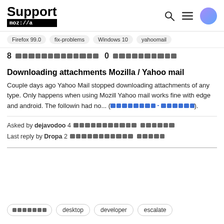Support mozilla // [search] [menu] [avatar]
Firefox 99.0  fix-problems  Windows 10  yahoomail
8 [redacted] 0 [redacted]
Downloading attachments Mozilla / Yahoo mail
Couple days ago Yahoo Mail stopped downloading attachments of any type. Only happens when using Mozilla. Yahoo mail works fine with edge and android. The following had no... (read-more-link).
Asked by dejavodoo 4 [redacted] Last reply by Dropa 2 [redacted]
[redacted]  desktop  developer  escalate